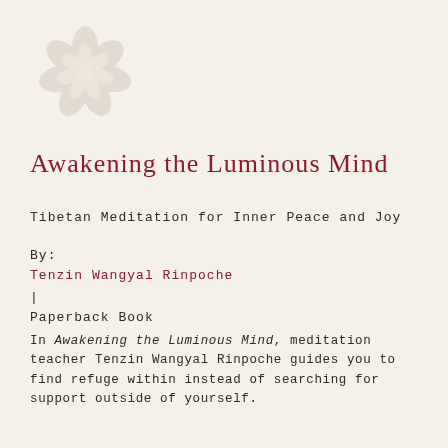[Figure (illustration): Circular lotus/mandala decorative emblem in light gray, positioned in the top-left area of the page]
Awakening the Luminous Mind
Tibetan Meditation for Inner Peace and Joy
By:
Tenzin Wangyal Rinpoche
|
Paperback Book
In Awakening the Luminous Mind, meditation teacher Tenzin Wangyal Rinpoche guides you to find refuge within instead of searching for support outside of yourself.